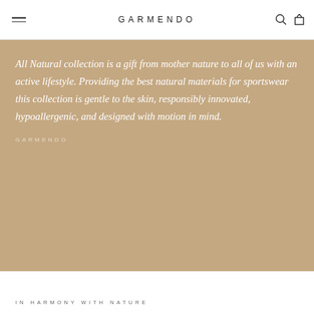GARMENDO
All Natural collection is a gift from mother nature to all of us with an active lifestyle. Providing the best natural materials for sportswear this collection is gentle to the skin, responsibly innovated, hypoallergenic, and designed with motion in mind.
GARMENDO
IN HARMONY WITH NATURE